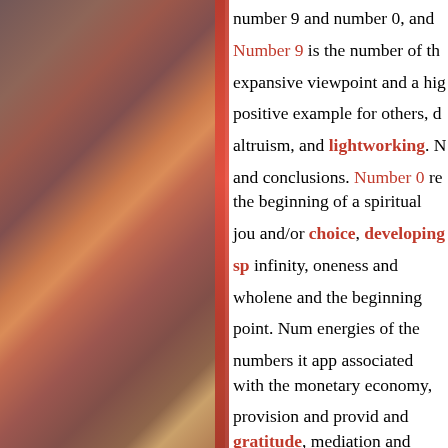[Figure (illustration): Abstract fluid art with warm reds, oranges, yellows, and dark burgundy tones forming organic flowing shapes, occupying the left portion of the page]
number 9 and number 0, and Number 9 is the number of the expansive viewpoint and a high positive example for others, d altruism, and lightworking. N and conclusions. Number 0 re the beginning of a spiritual jou and/or choice, developing sp infinity, oneness and wholene and the beginning point. Num energies of the numbers it app associated with the monetary economy, provision and provid and gratitude, mediation and nurturing, care, empathy and problem-solving.